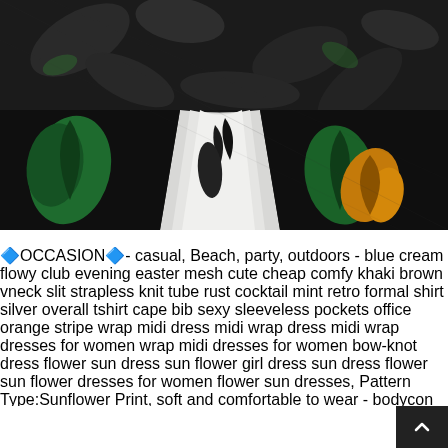[Figure (photo): Close-up photo of folded fabric with a dark tropical leaf print pattern — black background with green, white, and orange/yellow leaf motifs, overlaid with a dark lace or mesh layer.]
🔷OCCASION🔷- casual, Beach, party, outdoors - blue cream flowy club evening easter mesh cute cheap comfy khaki brown vneck slit strapless knit tube rust cocktail mint retro formal shirt silver overall tshirt cape bib sexy sleeveless pockets office orange stripe wrap midi dress midi wrap dress midi wrap dresses for women wrap midi dresses for women bow-knot dress flower sun dress sun flower girl dress sun dress flower sun flower dresses for women flower sun dresses, Pattern Type:Sunflower Print, soft and comfortable to wear - bodycon midi dresses for women work casual formal jersey velvet halter cotton navy vacation summer graduation 3/4 sleeves blue sleeveless cocktail pink floral rib knit fitted vintage sleeve pleated long plus yellow boho plaid swing wrap maternity length sexy evening maxi with xs xl olive club lace pencil black white teal burgundy rust season casual big chiffon blouson shirt